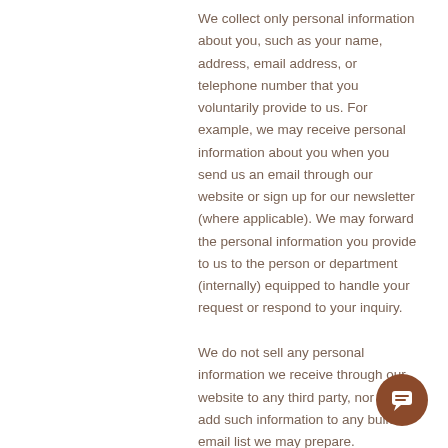We collect only personal information about you, such as your name, address, email address, or telephone number that you voluntarily provide to us. For example, we may receive personal information about you when you send us an email through our website or sign up for our newsletter (where applicable). We may forward the personal information you provide to us to the person or department (internally) equipped to handle your request or respond to your inquiry.
We do not sell any personal information we receive through our website to any third party, nor will we add such information to any bulk email list we may prepare.
Visitor comments may be checked through
[Figure (other): Chat bubble icon - a brown circle with a speech bubble/comment icon in white]